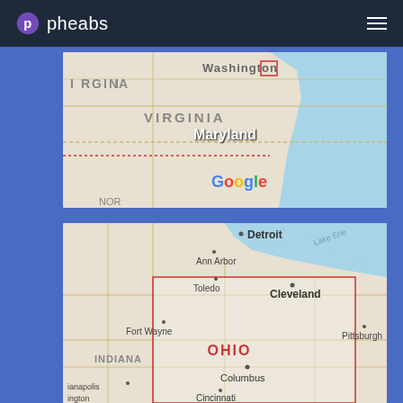pheabs
[Figure (map): Google Maps view showing Virginia, Maryland, and Washington DC area with state borders visible. 'Maryland' label displayed in white text overlay.]
[Figure (map): Google Maps view showing Ohio and surrounding states including Indiana, Michigan (Detroit, Ann Arbor), Pennsylvania (Pittsburgh), with cities: Detroit, Ann Arbor, Toledo, Cleveland, Fort Wayne, Columbus, Cincinnati, Indianapolis labeled.]